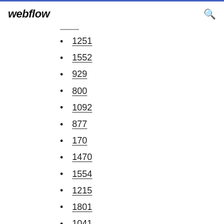webflow
1251
1552
929
800
1092
877
170
1470
1554
1215
1801
1041